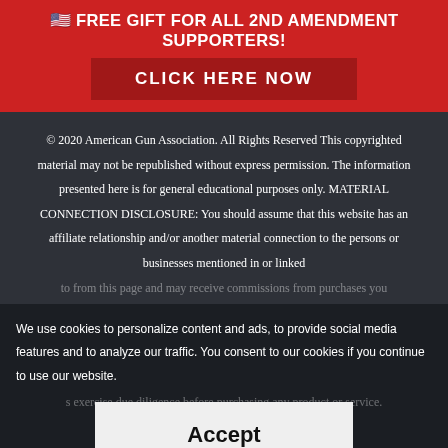🇺🇸 FREE GIFT FOR ALL 2ND AMENDMENT SUPPORTERS!
CLICK HERE NOW
© 2020 American Gun Association. All Rights Reserved This copyrighted material may not be republished without express permission. The information presented here is for general educational purposes only. MATERIAL CONNECTION DISCLOSURE: You should assume that this website has an affiliate relationship and/or another material connection to the persons or businesses mentioned in or linked to from this page and may receive commissions from purchases you make.
We use cookies to personalize content and ads, to provide social media features and to analyze our traffic. You consent to our cookies if you continue to use our website.
s exercise due diligence before purchasing any product or service.
This website contains advertisements.
Accept